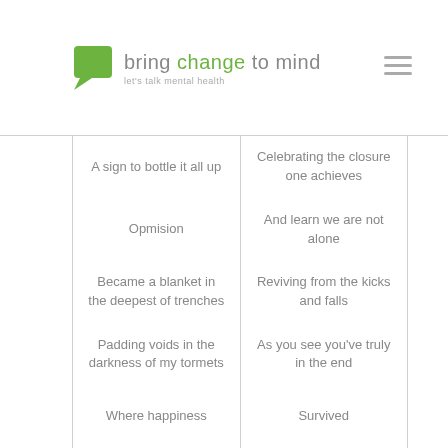bring change to mind — let's talk mental health
A sign to bottle it all up
Celebrating the closure one achieves
Opmision
And learn we are not alone
Became a blanket in the deepest of trenches
Reviving from the kicks and falls
Padding voids in the darkness of my tormets
As you see you've truly in the end
Survived
Where happiness